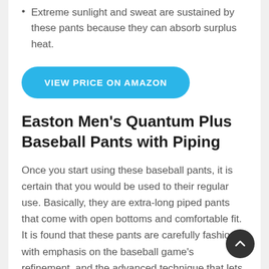Extreme sunlight and sweat are sustained by these pants because they can absorb surplus heat.
VIEW PRICE ON AMAZON
Easton Men's Quantum Plus Baseball Pants with Piping
Once you start using these baseball pants, it is certain that you would be used to their regular use. Basically, they are extra-long piped pants that come with open bottoms and comfortable fit. It is found that these pants are carefully fashioned with emphasis on the baseball game's refinement, and the advanced technique that lets you feel comfortable.